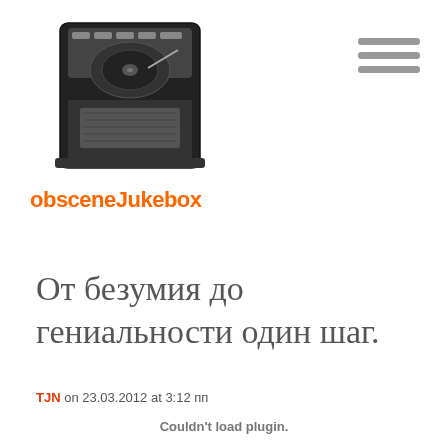[Figure (logo): Obscene Jukebox logo: black and white illustration of a jukebox with orange text 'obsceneJukebox' below]
[Figure (other): Hamburger menu icon: three horizontal gray bars in top right corner]
От безумия до гениальности один шаг.
TJN on 23.03.2012 at 3:12 пп
Couldn't load plugin.